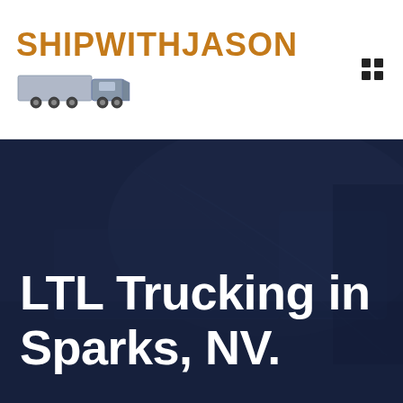[Figure (logo): ShipWithJason logo with orange bold text and a truck illustration below]
[Figure (other): Grid/menu icon (four squares) in top right corner]
[Figure (photo): Dark navy blue hero section with a semi-truck background image overlaid with dark blue tint]
LTL Trucking in Sparks, NV.